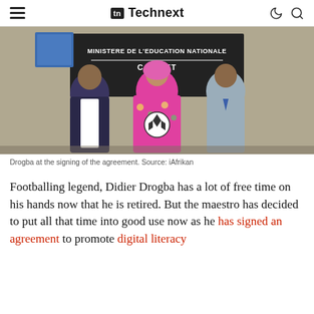Technext
[Figure (photo): Three people standing in front of a sign reading 'MINISTERE DE L'EDUCATION NATIONALE CABINET'. The person on the left wears a dark suit, the person in the center wears a colorful pink floral outfit and holds a soccer ball, and the person on the right wears a grey suit with a blue tie.]
Drogba at the signing of the agreement. Source: iAfrikan
Footballing legend, Didier Drogba has a lot of free time on his hands now that he is retired. But the maestro has decided to put all that time into good use now as he has signed an agreement to promote digital literacy